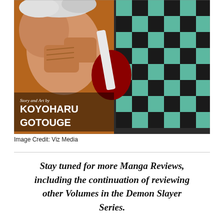[Figure (illustration): Manga cover art showing two characters fighting — one muscular figure with white/grey hair throwing punches on the left, and a character wearing a black and green checkered haori on the right. Text on the image reads 'Story and Art by KOYOHARU GOTOUGE'.]
Image Credit: Viz Media
Stay tuned for more Manga Reviews, including the continuation of reviewing other Volumes in the Demon Slayer Series.